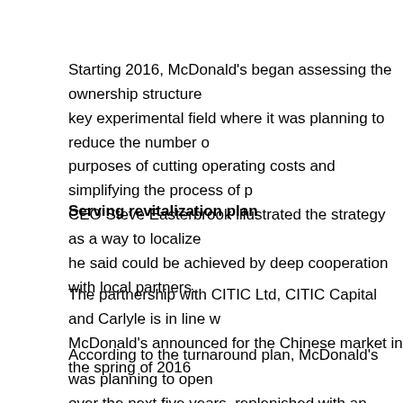Starting 2016, McDonald's began assessing the ownership structure of its key experimental field where it was planning to reduce the number of for purposes of cutting operating costs and simplifying the process of p CEO Steve Easterbrook illustrated the strategy as a way to localize he said could be achieved by deep cooperation with local partners.
Serving revitalization plan
The partnership with CITIC Ltd, CITIC Capital and Carlyle is in line w McDonald's announced for the Chinese market in the spring of 2016
According to the turnaround plan, McDonald's was planning to open over the next five years, replenished with an auction of its wholly-ow are about 2,600 locations, 1,750 of which are company-owned.